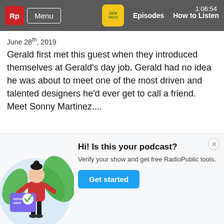Guest – Sonny James (Designer) - S4 E04 | Menu | Episodes | How to Listen | 1:06:54
Guest – Sonny James (Designer) - S4 E04
June 28th, 2019
Gerald first met this guest when they introduced themselves at Gerald's day job. Gerald had no idea he was about to meet one of the most driven and talented designers he'd ever get to call a friend. Meet Sonny Martinez....
Guest - Korbin Boomer Matthews (Creative) - S4 E03
June 21st, 2019
Ladies and gentlemen, meet Boomer (Korbin Boomer
[Figure (illustration): Illustration of a woman standing next to a large card/document with a checkmark, green leaves in background, light blue circle background]
Hi! Is this your podcast? Verify your show and get free RadioPublic tools.
Get started